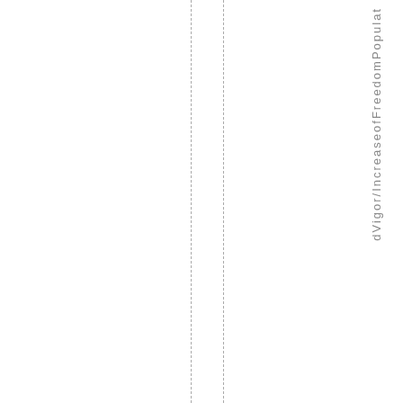dVigor/IncreaseofFreedomPopulat